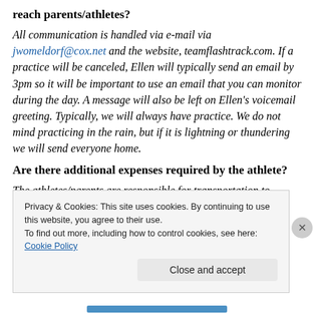reach parents/athletes?
All communication is handled via e-mail via jwomeldorf@cox.net and the website, teamflashtrack.com. If a practice will be canceled, Ellen will typically send an email by 3pm so it will be important to use an email that you can monitor during the day. A message will also be left on Ellen's voicemail greeting. Typically, we will always have practice. We do not mind practicing in the rain, but if it is lightning or thundering we will send everyone home.
Are there additional expenses required by the athlete?
The athletes/parents are responsible for transportation to
Privacy & Cookies: This site uses cookies. By continuing to use this website, you agree to their use. To find out more, including how to control cookies, see here: Cookie Policy